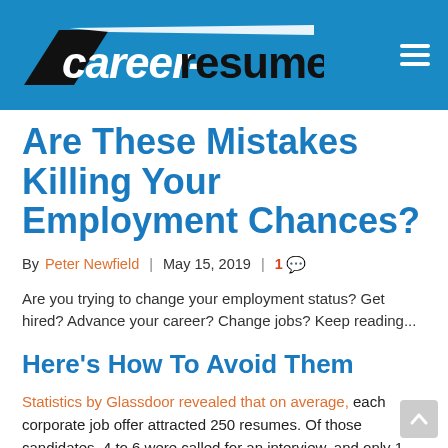[Figure (logo): career-resumes website logo with blue background and hamburger menu icon]
Are These Mistakes Killing Your Employment Chances?
By Peter Newfield  |  May 15, 2019  |  1 [comment]
Are you trying to change your employment status? Get hired? Advance your career? Change jobs? Keep reading...
Here's How To Avoid Them
Statistics by Glassdoor revealed that on average, each corporate job offer attracted 250 resumes. Of those candidates, 4 to 6 were called for an interview, and only 1